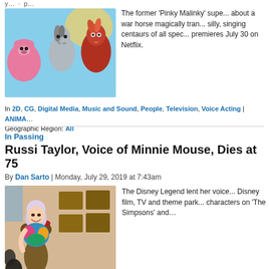y... about a war horse magically tra... silly, singing centaurs of all spec... premieres July 30 on Netflix.
[Figure (photo): Animated characters from a colorful cartoon: a pink bear, a horse, and a red bird-like centaur]
The former 'Pinky Malinky' supe... about a war horse magically tra... silly, singing centaurs of all spec... premieres July 30 on Netflix.
In 2D, CG, Digital Media, Music and Sound, People, Television, Voice Acting | ANIMA... Geographic Region: All
In Passing
Russi Taylor, Voice of Minnie Mouse, Dies at 75
By Dan Sarto | Monday, July 29, 2019 at 7:43am
[Figure (photo): An elderly woman with short light hair, wearing a colorful floral outfit, posing with a bronze Minnie Mouse statue]
The Disney Legend lent her voice... Disney film, TV and theme park... characters on 'The Simpsons' and...